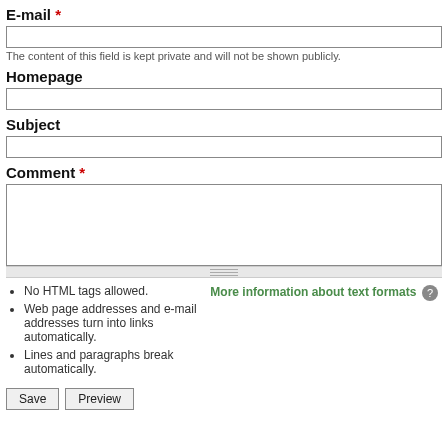E-mail *
The content of this field is kept private and will not be shown publicly.
Homepage
Subject
Comment *
No HTML tags allowed.
More information about text formats
Web page addresses and e-mail addresses turn into links automatically.
Lines and paragraphs break automatically.
Save  Preview